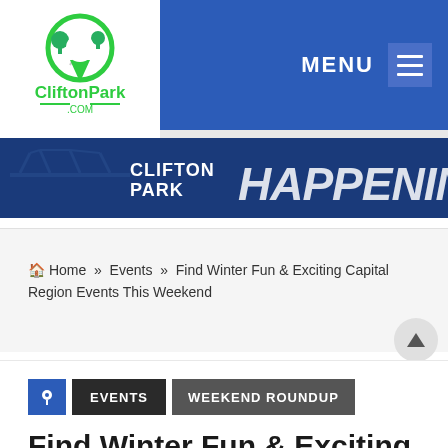[Figure (logo): CliftonPark.com logo with green location pin icon and green text]
MENU ☰
[Figure (infographic): Clifton Park Happenings banner with bridge silhouette and bold text]
🏠 Home  »  Events  »  Find Winter Fun & Exciting Capital Region Events This Weekend
📌 EVENTS WEEKEND ROUNDUP
Find Winter Fun & Exciting Capital Region Events This